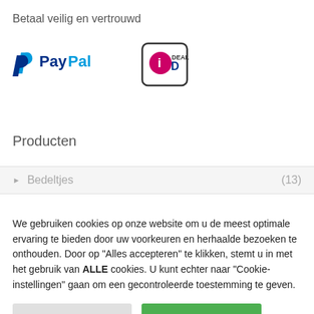Betaal veilig en vertrouwd
[Figure (logo): PayPal and iDEAL payment logos]
Producten
Bedeltjes (13)
We gebruiken cookies op onze website om u de meest optimale ervaring te bieden door uw voorkeuren en herhaalde bezoeken te onthouden. Door op "Alles accepteren" te klikken, stemt u in met het gebruik van ALLE cookies. U kunt echter naar "Cookie-instellingen" gaan om een gecontroleerde toestemming te geven.
Cookie instellingen | Alles accepteren